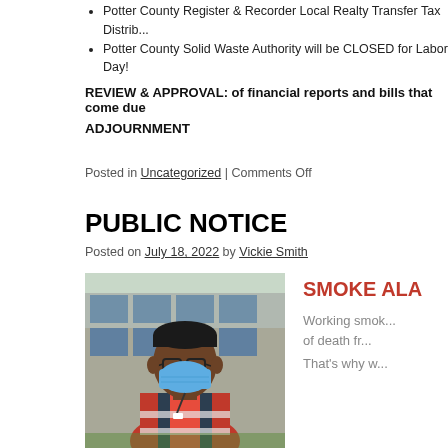Potter County Register & Recorder Local Realty Transfer Tax Distrib...
Potter County Solid Waste Authority will be CLOSED for Labor Day!
REVIEW & APPROVAL: of financial reports and bills that come due
ADJOURNMENT
Posted in Uncategorized | Comments Off
PUBLIC NOTICE
Posted on July 18, 2022 by Vickie Smith
[Figure (photo): A young man wearing a blue medical mask, glasses, and a red safety vest standing in front of a brick building with windows]
SMOKE ALA... Working smok... of death fr... That's why w...